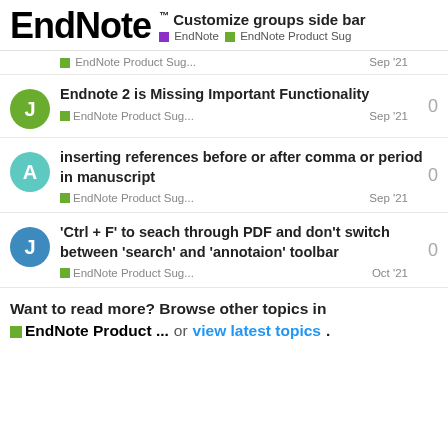EndNote™ Customize groups side bar — EndNote | EndNote Product Sug
EndNote Product Sug... Sep '21
Endnote 2 is Missing Important Functionality — EndNote Product Sug... Sep '21 — 0 replies
inserting references before or after comma or period in manuscript — EndNote Product Sug... Sep '21 — 0 replies
'Ctrl + F' to seach through PDF and don't switch between 'search' and 'annotaion' toolbar — EndNote Product Sug... Oct '21 — 0 replies
Want to read more? Browse other topics in EndNote Product ... or view latest topics.